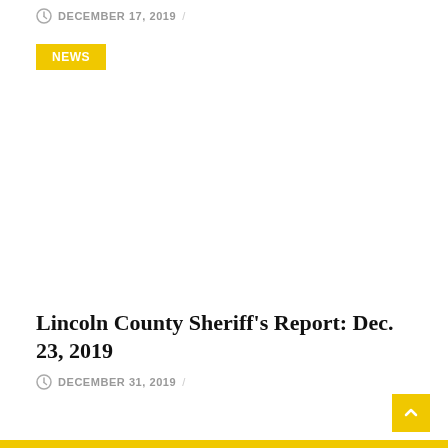DECEMBER 17, 2019 /
NEWS
Lincoln County Sheriff's Report: Dec. 23, 2019
DECEMBER 31, 2019 /